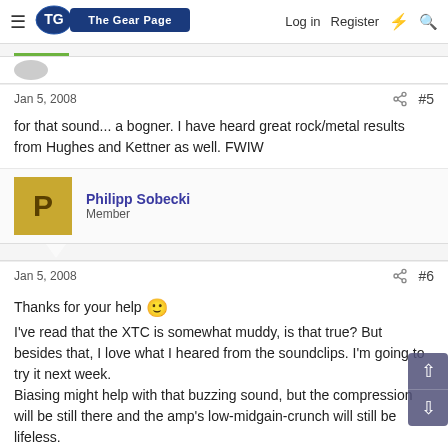The Gear Page — Log in  Register
Jan 5, 2008  #5
for that sound... a bogner. I have heard great rock/metal results from Hughes and Kettner as well. FWIW
Philipp Sobecki
Member
Jan 5, 2008  #6
Thanks for your help 🙂
I've read that the XTC is somewhat muddy, is that true? But besides that, I love what I heared from the soundclips. I'm going to try it next week.
Biasing might help with that buzzing sound, but the compression will be still there and the amp's low-midgain-crunch will still be lifeless.